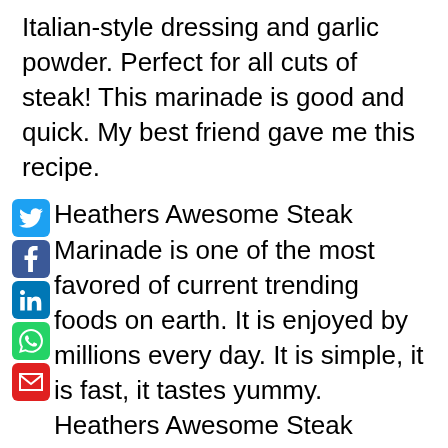Italian-style dressing and garlic powder. Perfect for all cuts of steak! This marinade is good and quick. My best friend gave me this recipe.
Heathers Awesome Steak Marinade is one of the most favored of current trending foods on earth. It is enjoyed by millions every day. It is simple, it is fast, it tastes yummy. Heathers Awesome Steak Marinade is something that I've loved my entire life. They're nice and they look fantastic.
To begin with this particular recipe, we